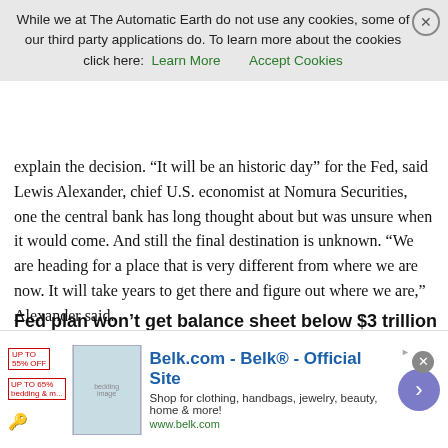While we at The Automatic Earth do not use any cookies, some of our third party applications do. To learn more about the cookies click here: Learn More   Accept Cookies
explain the decision. “It will be an historic day” for the Fed, said Lewis Alexander, chief U.S. economist at Nomura Securities, one the central bank has long thought about but was unsure when it would come. And still the final destination is unknown. “We are heading for a place that is very different from where we are now. It will take years to get there and figure out where we are,” Alexander said.
Fed plan won’t get balance sheet below $3 trillion until late 2019
Fed’s asset holdings in trillions
[Figure (area-chart): Area/line chart showing Fed asset holdings rising from ~$0.9T before 2009 to a peak of ~$4.5T around 2015, then declining toward ~$2.5T by late 2019. A red arrow annotates Sept. 2017.]
Belk.com - Belk® - Official Site
Shop for clothing, handbags, jewelry, beauty, home & more!
www.belk.com